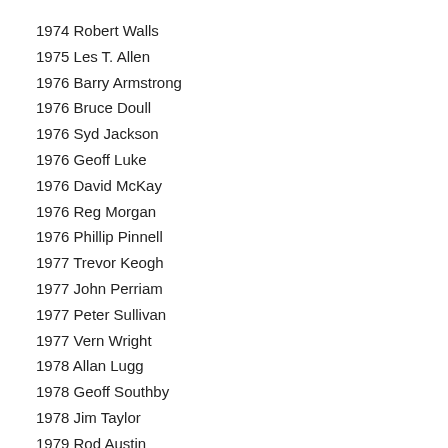1974 Robert Walls
1975 Les T. Allen
1976 Barry Armstrong
1976 Bruce Doull
1976 Syd Jackson
1976 Geoff Luke
1976 David McKay
1976 Reg Morgan
1976 Phillip Pinnell
1977 Trevor Keogh
1977 John Perriam
1977 Peter Sullivan
1977 Vern Wright
1978 Allan Lugg
1978 Geoff Southby
1978 Jim Taylor
1979 Rod Austin
1979 Jack Haskett
1979 Bill Hunter
1979 Keith McKenzie
1980 Wilbur “Les” Allen
1980 Rod Ashman
1980 Ann McLeod
1981 Les Belworthy